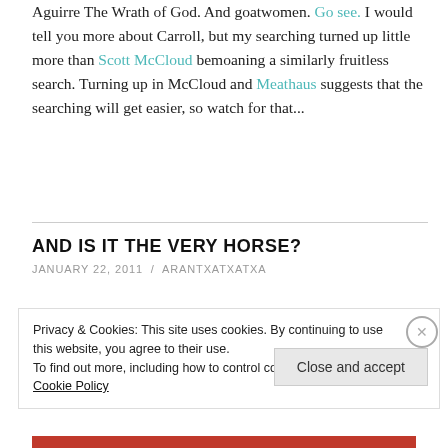Aguirre The Wrath of God. And goatwomen. Go see. I would tell you more about Carroll, but my searching turned up little more than Scott McCloud bemoaning a similarly fruitless search. Turning up in McCloud and Meathaus suggests that the searching will get easier, so watch for that...
AND IS IT THE VERY HORSE?
JANUARY 22, 2011 / ARANTXATXATXA
Privacy & Cookies: This site uses cookies. By continuing to use this website, you agree to their use. To find out more, including how to control cookies, see here: Cookie Policy